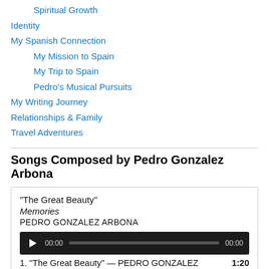Spiritual Growth
Identity
My Spanish Connection
My Mission to Spain
My Trip to Spain
Pedro's Musical Pursuits
My Writing Journey
Relationships & Family
Travel Adventures
Songs Composed by Pedro Gonzalez Arbona
“The Great Beauty”
Memories
PEDRO GONZALEZ ARBONA
[Figure (other): Audio player with play button, time display 00:00, progress bar, and end time 00:00 on dark background]
1. “The Great Beauty” — PEDRO GONZALEZ ARBONA  1:20